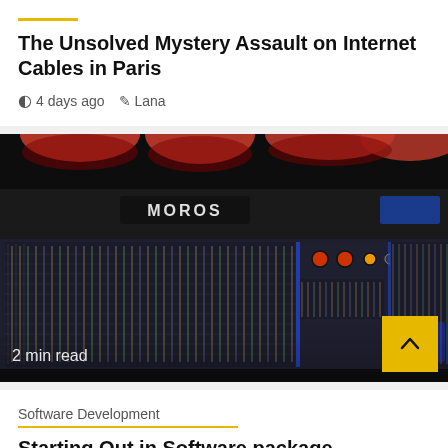The Unsolved Mystery Assault on Internet Cables in Paris
4 days ago  Lana
[Figure (photo): Close-up photo of a professional audio mixing console (Moros brand) with numerous faders, knobs, and patch bays; red cables visible at top; '2 min read' overlay at bottom left]
Software Development
Starting Out in Software package